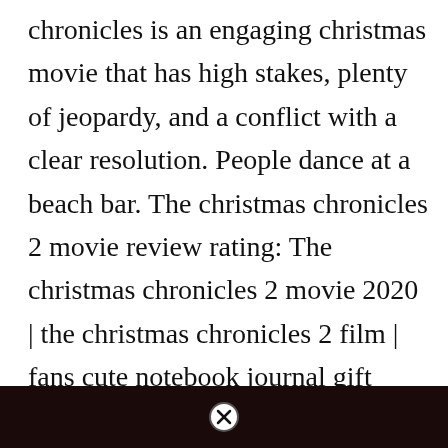chronicles is an engaging christmas movie that has high stakes, plenty of jeopardy, and a conflict with a clear resolution. People dance at a beach bar. The christmas chronicles 2 movie review rating: The christmas chronicles 2 movie 2020 | the christmas chronicles 2 film | fans cute notebook journal gift (french edition) by inaox books | nov 11, 2020 paperback As of this writing, the christmas chronicles 2 is the number two item on netflix in the u.s.
[Figure (photo): Dark image strip at the bottom of the page with a close/dismiss button (circled X) in the center top of the strip.]